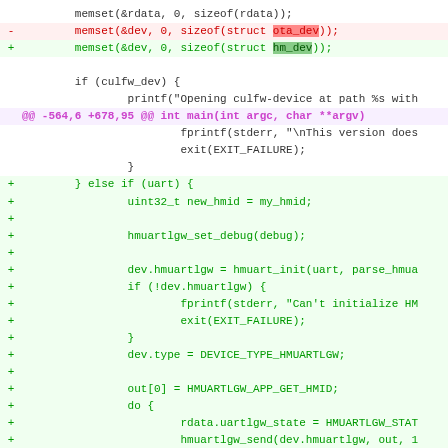Code diff showing changes to memset calls, culfw-device handling, and addition of uart/hmuartlgw initialization block including hmuartlgw_set_debug, hmuart_init, dev.type assignment, and firmware/hmid retrieval loops.